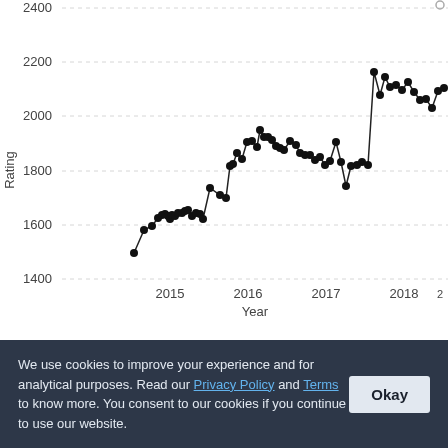[Figure (continuous-plot): Line chart showing chess/game rating over time from 2015 to 2019. Y-axis labeled 'Rating' ranges from 1400 to 2400. X-axis labeled 'Year'. The line starts around 1500 in early 2015, rises with fluctuations to ~1800 by mid-2015, then jumps to ~2150 in early 2016, stays relatively flat around 2050-2150 through 2017, with a dip to ~1950 around mid-2017, then rises to peaks near 2300-2350 in 2018, fluctuates, and ends around 2000-2200 in 2019.]
We use cookies to improve your experience and for analytical purposes. Read our Privacy Policy and Terms to know more. You consent to our cookies if you continue to use our website.